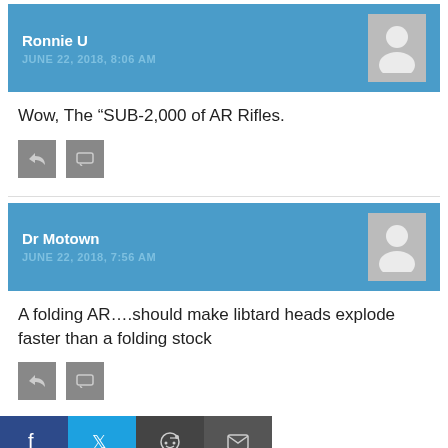Ronnie U
JUNE 22, 2018, 8:06 AM
Wow, The “SUB-2,000 of AR Rifles.
Dr Motown
JUNE 22, 2018, 7:56 AM
A folding AR….should make libtard heads explode faster than a folding stock